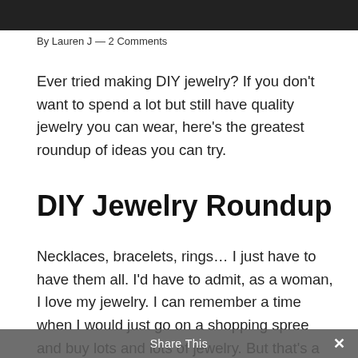[Figure (photo): Partial black and white photo at top of page, cropped]
By Lauren J — 2 Comments
Ever tried making DIY jewelry? If you don't want to spend a lot but still have quality jewelry you can wear, here's the greatest roundup of ideas you can try.
DIY Jewelry Roundup
Necklaces, bracelets, rings… I just have to have them all. I'd have to admit, as a woman, I love my jewelry. I can remember a time when I would just go on a shopping spree and buy lots and lots of jewelry. But that's a thing of the past now. Ever since I had my own family, I know that our budget
Share This ✕